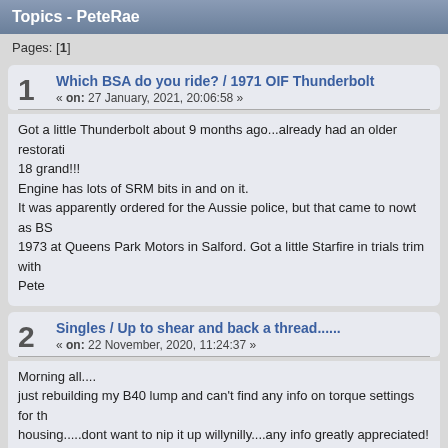Topics - PeteRae
Pages: [1]
1  Which BSA do you ride? / 1971 OIF Thunderbolt
« on: 27 January, 2021, 20:06:58 »
Got a little Thunderbolt about 9 months ago...already had an older restoration 18 grand!!!
Engine has lots of SRM bits in and on it.
It was apparently ordered for the Aussie police, but that came to nowt as BS... 1973 at Queens Park Motors in Salford. Got a little Starfire in trials trim with...
Pete
2  Singles / Up to shear and back a thread......
« on: 22 November, 2020, 11:24:37 »
Morning all....
just rebuilding my B40 lump and can't find any info on torque settings for the housing.....dont want to nip it up willynilly....any info greatly appreciated!
Pete